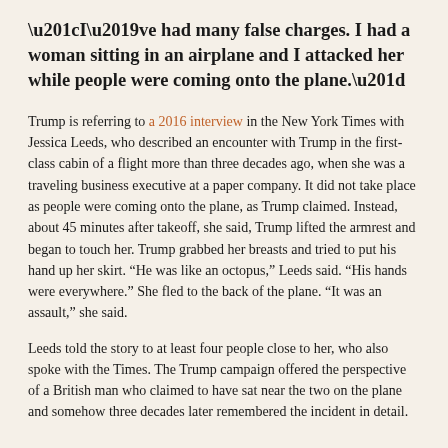“I’ve had many false charges. I had a woman sitting in an airplane and I attacked her while people were coming onto the plane.”
Trump is referring to a 2016 interview in the New York Times with Jessica Leeds, who described an encounter with Trump in the first-class cabin of a flight more than three decades ago, when she was a traveling business executive at a paper company. It did not take place as people were coming onto the plane, as Trump claimed. Instead, about 45 minutes after takeoff, she said, Trump lifted the armrest and began to touch her. Trump grabbed her breasts and tried to put his hand up her skirt. “He was like an octopus,” Leeds said. “His hands were everywhere.” She fled to the back of the plane. “It was an assault,” she said.
Leeds told the story to at least four people close to her, who also spoke with the Times. The Trump campaign offered the perspective of a British man who claimed to have sat near the two on the plane and somehow three decades later remembered the incident in detail.